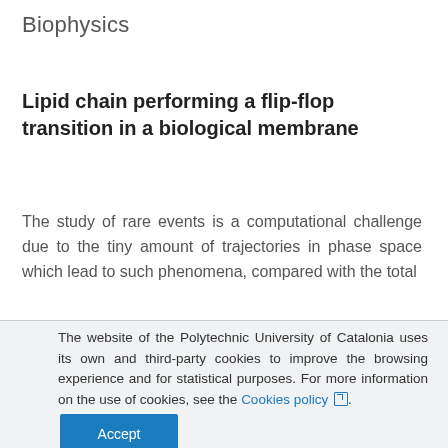Biophysics
Lipid chain performing a flip-flop transition in a biological membrane
The study of rare events is a computational challenge due to the tiny amount of trajectories in phase space which lead to such phenomena, compared with the total
The website of the Polytechnic University of Catalonia uses its own and third-party cookies to improve the browsing experience and for statistical purposes. For more information on the use of cookies, see the Cookies policy.
Accept